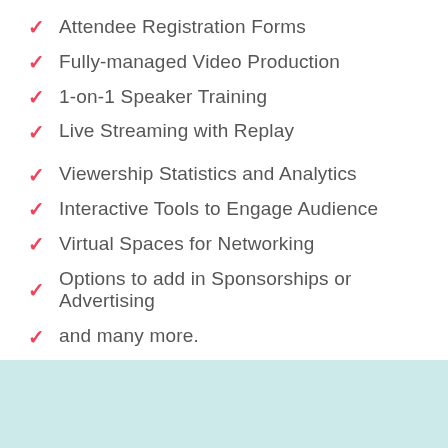Attendee Registration Forms
Fully-managed Video Production
1-on-1 Speaker Training
Live Streaming with Replay
Viewership Statistics and Analytics
Interactive Tools to Engage Audience
Virtual Spaces for Networking
Options to add in Sponsorships or Advertising
and many more.